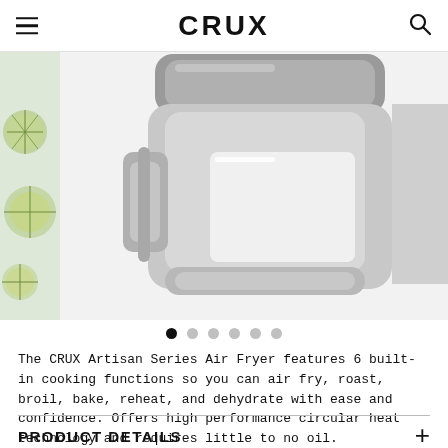CRUX
[Figure (photo): CRUX Artisan Series Air Fryer product photo showing silver/stainless steel air fryer with handle and basket, with green lime slices visible on the left side thumbnail]
The CRUX Artisan Series Air Fryer features 6 built-in cooking functions so you can air fry, roast, broil, bake, reheat, and dehydrate with ease and confidence. Offers high performance circular heat technology and requires little to no oil.
PRODUCT DETAILS